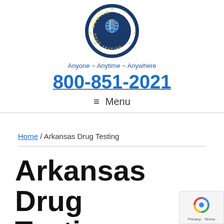[Figure (logo): Mobile Drug Testing circular logo with DNA helix and globe icon, dark blue border with gold stars]
Anyone ~ Anytime ~ Anywhere
800-851-2021
≡ Menu
Home / Arkansas Drug Testing
Arkansas Drug Testing